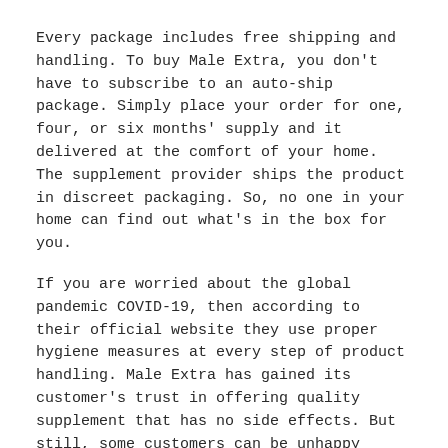Every package includes free shipping and handling. To buy Male Extra, you don't have to subscribe to an auto-ship package. Simply place your order for one, four, or six months' supply and it delivered at the comfort of your home. The supplement provider ships the product in discreet packaging. So, no one in your home can find out what's in the box for you.
If you are worried about the global pandemic COVID-19, then according to their official website they use proper hygiene measures at every step of product handling. Male Extra has gained its customer's trust in offering quality supplement that has no side effects. But still, some customers can be unhappy